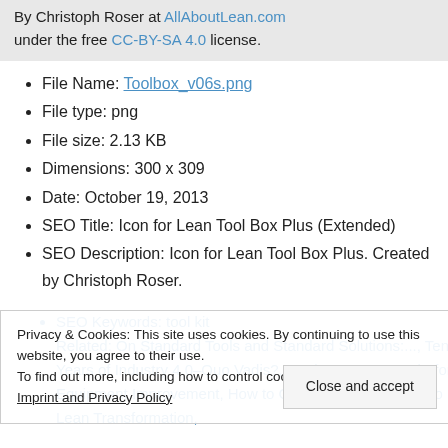By Christoph Roser at AllAboutLean.com under the free CC-BY-SA 4.0 license.
File Name: Toolbox_v06s.png
File type: png
File size: 2.13 KB
Dimensions: 300 x 309
Date: October 19, 2013
SEO Title: Icon for Lean Tool Box Plus (Extended)
SEO Description: Icon for Lean Tool Box Plus. Created by Christoph Roser.
SEO Keywords: tool kit
Privacy & Cookies: This site uses cookies. By continuing to use this website, you agree to their use. To find out more, including how to control cookies, see here: Imprint and Privacy Policy
Related: On Standard Tools and Standard Solutions:... Ten Years of Industry 4.0–Quo Vadis?, Work Improvement before Equipment Improvement, How to Convince Your People to Do a Lean Transformation,